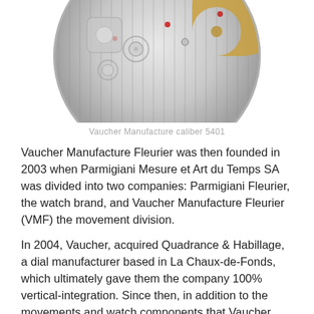[Figure (photo): Partial view of a watch movement mechanism (Vaucher Manufacture caliber 5401), showing gears, jewels, and decorative finishing, cropped at the top of the page]
Vaucher Manufacture caliber 5401
Vaucher Manufacture Fleurier was then founded in 2003 when Parmigiani Mesure et Art du Temps SA was divided into two companies: Parmigiani Fleurier, the watch brand, and Vaucher Manufacture Fleurier (VMF) the movement division.
In 2004, Vaucher, acquired Quadrance & Habillage, a dial manufacturer based in La Chaux-de-Fonds, which ultimately gave them the company 100% vertical-integration. Since then, in addition to the movements and watch components that Vaucher produces Parmigiani Fleurier, they also make parts for Richard Mille and…